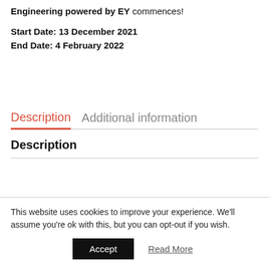Engineering powered by EY commences!
Start Date: 13 December 2021
End Date: 4 February 2022
Description   Additional information
Description
This website uses cookies to improve your experience. We'll assume you're ok with this, but you can opt-out if you wish.